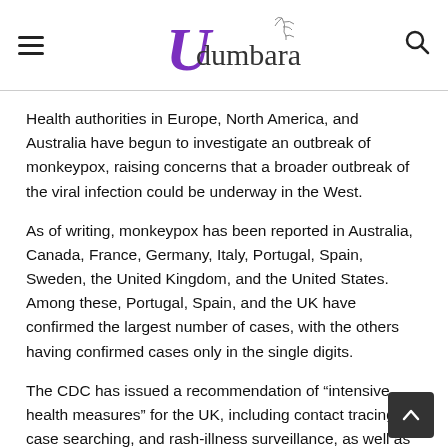Udumbara
Health authorities in Europe, North America, and Australia have begun to investigate an outbreak of monkeypox, raising concerns that a broader outbreak of the viral infection could be underway in the West.
As of writing, monkeypox has been reported in Australia, Canada, France, Germany, Italy, Portugal, Spain, Sweden, the United Kingdom, and the United States. Among these, Portugal, Spain, and the UK have confirmed the largest number of cases, with the others having confirmed cases only in the single digits.
The CDC has issued a recommendation of “intensive health measures” for the UK, including contact tracing, case searching, and rash-illness surveillance, as well as the isolation of individuals suspected of being infected with the